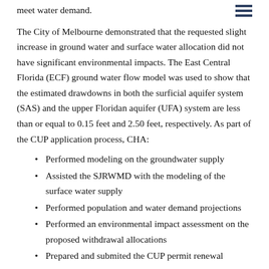meet water demand.
The City of Melbourne demonstrated that the requested slight increase in ground water and surface water allocation did not have significant environmental impacts. The East Central Florida (ECF) ground water flow model was used to show that the estimated drawdowns in both the surficial aquifer system (SAS) and the upper Floridan aquifer (UFA) system are less than or equal to 0.15 feet and 2.50 feet, respectively. As part of the CUP application process, CHA:
Performed modeling on the groundwater supply
Assisted the SJRWMD with the modeling of the surface water supply
Performed population and water demand projections
Performed an environmental impact assessment on the proposed withdrawal allocations
Prepared and submited the CUP permit renewal